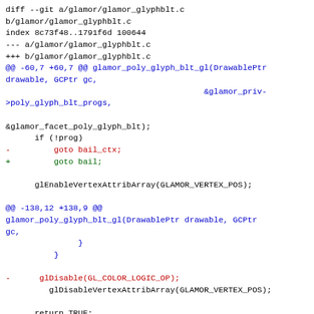diff --git a/glamor/glamor_glyphblt.c b/glamor/glamor_glyphblt.c
index 8c73f48..1791f6d 100644
--- a/glamor/glamor_glyphblt.c
+++ b/glamor/glamor_glyphblt.c
@@ -60,7 +60,7 @@ glamor_poly_glyph_blt_gl(DrawablePtr drawable, GCPtr gc,
                                          &glamor_priv->poly_glyph_blt_progs,

&glamor_facet_poly_glyph_blt);
      if (!prog)
-         goto bail_ctx;
+         goto bail;

      glEnableVertexAttribArray(GLAMOR_VERTEX_POS);

@@ -138,12 +138,9 @@
glamor_poly_glyph_blt_gl(DrawablePtr drawable, GCPtr gc,
               }
          }

-      glDisable(GL_COLOR_LOGIC_OP);
         glDisableVertexAttribArray(GLAMOR_VERTEX_POS);

      return TRUE;
-bail_ctx:
-      glDisable(GL_COLOR_LOGIC_OP);
 bail:
      return FALSE;